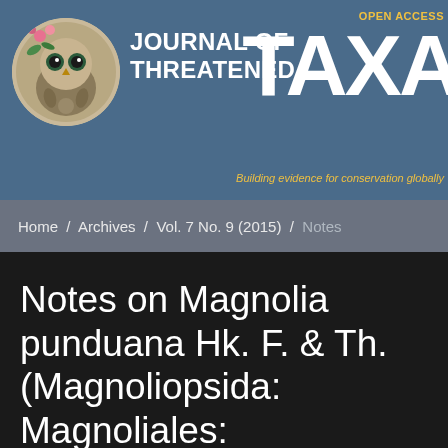[Figure (logo): Journal of Threatened Taxa logo — circular emblem with illustrated wildlife/botanical motif]
OPEN ACCESS
JOURNAL OF THREATENED TAXA
Building evidence for conservation globally
Home / Archives / Vol. 7 No. 9 (2015) / Notes
Notes on Magnolia punduana Hk. F. & Th. (Magnoliopsida: Magnoliales: Magnoliaceae): an endemic and